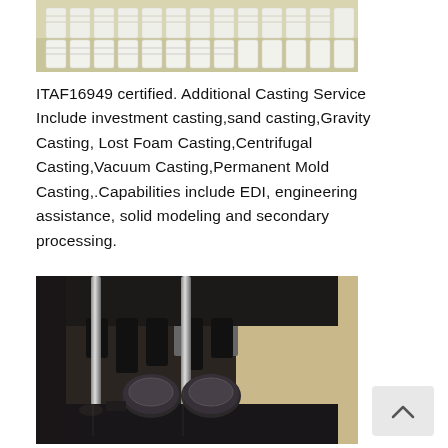[Figure (photo): Top partial photo showing white foam or cast parts arranged in rows on a surface]
ITAF16949 certified. Additional Casting Service Include investment casting,sand casting,Gravity Casting, Lost Foam Casting,Centrifugal Casting,Vacuum Casting,Permanent Mold Casting,.Capabilities include EDI, engineering assistance, solid modeling and secondary processing.
[Figure (photo): Industrial casting machine with dark metal components, hydraulic press with pistons and mold parts visible]
[Figure (other): Back/up navigation button with caret symbol]